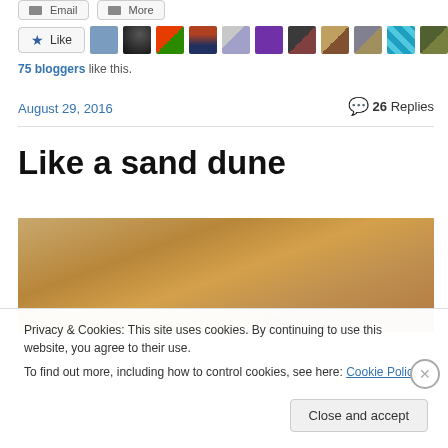[Figure (screenshot): Email and More buttons at top]
[Figure (screenshot): Like button and row of blogger avatars (75 bloggers like this)]
75 bloggers like this.
August 29, 2016
26 Replies
Like a sand dune
[Figure (photo): Sand dune image with golden-brown gradient]
Privacy & Cookies: This site uses cookies. By continuing to use this website, you agree to their use.
To find out more, including how to control cookies, see here: Cookie Policy
Close and accept